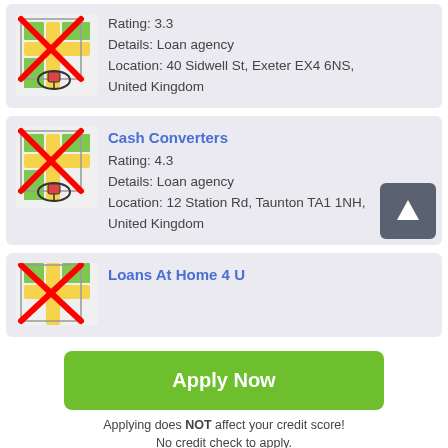[Figure (illustration): Map icon with red X overlay and location pin, partially visible card (first listing)]
Rating: 3.3
Details: Loan agency
Location: 40 Sidwell St, Exeter EX4 6NS, United Kingdom
Cash Converters
[Figure (illustration): Map icon with red X overlay and location pin (Cash Converters)]
Rating: 4.3
Details: Loan agency
Location: 12 Station Rd, Taunton TA1 1NH, United Kingdom
Loans At Home 4 U
[Figure (illustration): Map icon with red X overlay, partially visible (Loans At Home 4 U)]
[Figure (illustration): Scroll-to-top button with upward arrow]
Apply Now
Applying does NOT affect your credit score!
No credit check to apply.